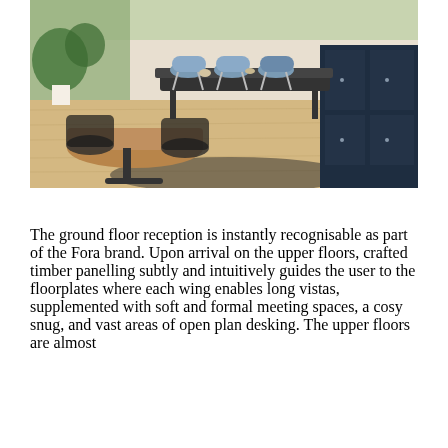[Figure (photo): Interior photo of a modern office/dining space with light wood flooring, round wooden table with black chairs in foreground, long dining table with blue chairs in background, dark navy cabinetry along the right wall, and green plants near a window on the left.]
The ground floor reception is instantly recognisable as part of the Fora brand. Upon arrival on the upper floors, crafted timber panelling subtly and intuitively guides the user to the floorplates where each wing enables long vistas, supplemented with soft and formal meeting spaces, a cosy snug, and vast areas of open plan desking. The upper floors are almost